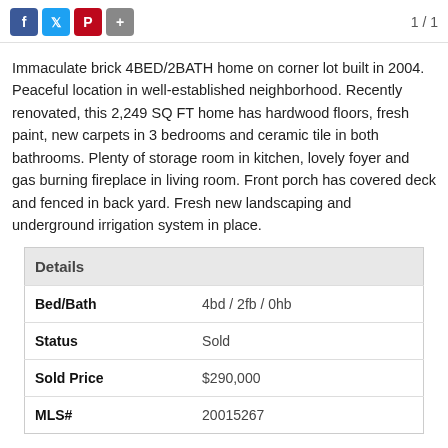1/1
Immaculate brick 4BED/2BATH home on corner lot built in 2004. Peaceful location in well-established neighborhood. Recently renovated, this 2,249 SQ FT home has hardwood floors, fresh paint, new carpets in 3 bedrooms and ceramic tile in both bathrooms. Plenty of storage room in kitchen, lovely foyer and gas burning fireplace in living room. Front porch has covered deck and fenced in back yard. Fresh new landscaping and underground irrigation system in place.
| Details |  |
| --- | --- |
| Bed/Bath | 4bd / 2fb / 0hb |
| Status | Sold |
| Sold Price | $290,000 |
| MLS# | 20015267 |